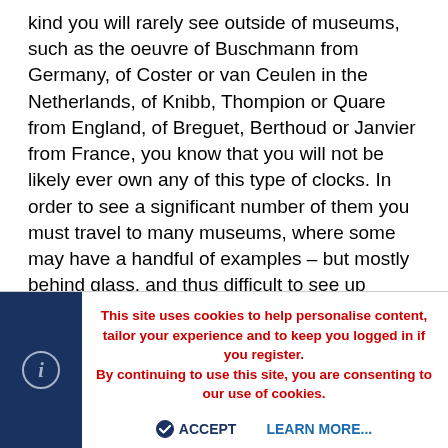kind you will rarely see outside of museums, such as the oeuvre of Buschmann from Germany, of Coster or van Ceulen in the Netherlands, of Knibb, Thompion or Quare from England, of Breguet, Berthoud or Janvier from France, you know that you will not be likely ever own any of this type of clocks. In order to see a significant number of them you must travel to many museums, where some may have a handful of examples – but mostly behind glass, and thus difficult to see up close. Purchasing the Vehmeyer book –while no replacement of hands on examination of the masterworks- gives you a great opportunity to learn about some of the finest clocks ever made. The cost of the book –while substantial- is but a tiny fraction of what it would cost to buy any one of these clocks, and still considerably less than touring the great horological museums of the world. Even more economical is borrowing the set of books through the mail from the Library and Research
This site uses cookies to help personalise content, tailor your experience and to keep you logged in if you register. By continuing to use this site, you are consenting to our use of cookies.
ACCEPT   LEARN MORE...